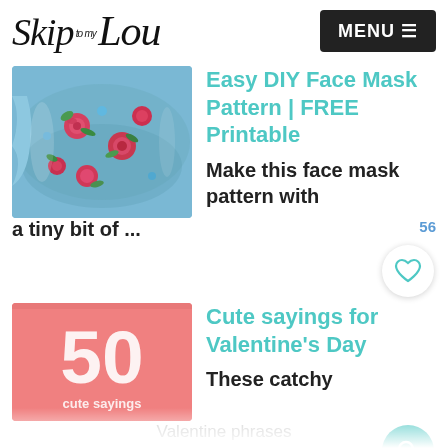Skip to my Lou — MENU
[Figure (screenshot): A blue floral face mask with red roses on fabric]
Easy DIY Face Mask Pattern | FREE Printable
Make this face mask pattern with a tiny bit of ...
[Figure (illustration): Pink background with large white '50' text and 'cute sayings' text below]
Cute sayings for Valentine's Day
These catchy
Valentine phrases